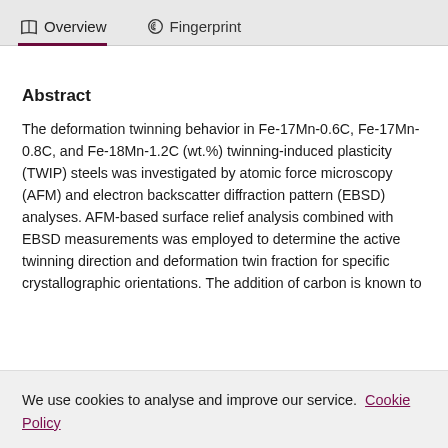Overview | Fingerprint
Abstract
The deformation twinning behavior in Fe-17Mn-0.6C, Fe-17Mn-0.8C, and Fe-18Mn-1.2C (wt.%) twinning-induced plasticity (TWIP) steels was investigated by atomic force microscopy (AFM) and electron backscatter diffraction pattern (EBSD) analyses. AFM-based surface relief analysis combined with EBSD measurements was employed to determine the active twinning direction and deformation twin fraction for specific crystallographic orientations. The addition of carbon is known to
We use cookies to analyse and improve our service. Cookie Policy